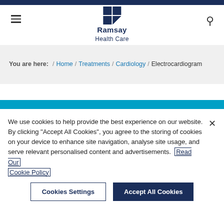[Figure (logo): Ramsay Health Care logo with dark blue grid icon and text]
You are here:  /  Home  /  Treatments  /  Cardiology  /  Electrocardiogram
We use cookies to help provide the best experience on our website. By clicking "Accept All Cookies", you agree to the storing of cookies on your device to enhance site navigation, analyse site usage, and serve relevant personalised content and advertisements.  Read Our Cookie Policy
Cookies Settings
Accept All Cookies